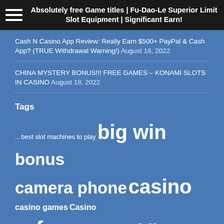Absolutely free Game titles | Fu-Dao-Le Superior Limit Slot Equipment | Significant Earn!
Cash N Casino App Review: Really Earn $500+ PayPal & Cash App? (TRUE Withdrawal Warning!) August 18, 2022
CHINA MYSTERY BONUS!!! FREE GAMES – KONAMI SLOTS IN CASINO August 18, 2022
Tags
... best slot machines to play big win bonus camera phone casino casino games Casino Slots free free spins gambling Handpay high limit high limit slots huge win Jackpot las vegas las vegas casinos slot machines live slot play at casino max bet online casino online slots pokie pokies roulette roulette